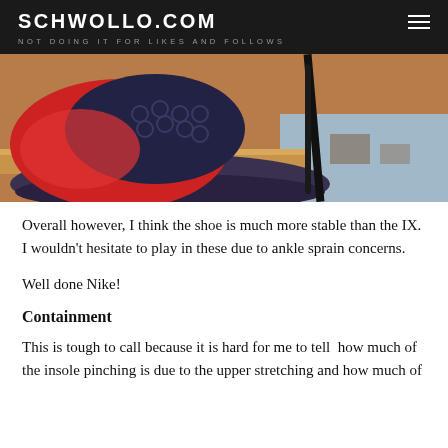SCHWOLLO.COM — NOT DOING IT FOR LIKES AND FOLLOWS
[Figure (photo): Close-up photo of a Nike basketball shoe upper showing red and black textured material, hexagonal pattern, and black lace, resting on a wooden surface with a patterned rug in the background.]
Overall however, I think the shoe is much more stable than the IX. I wouldn't hesitate to play in these due to ankle sprain concerns.
Well done Nike!
Containment
This is tough to call because it is hard for me to tell  how much of the insole pinching is due to the upper stretching and how much of